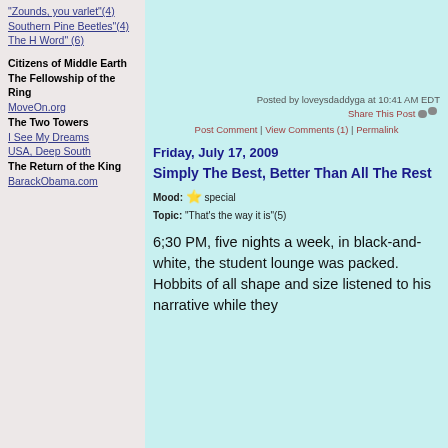"Zounds, you varlet"(4)
Southern Pine Beetles"(4)
The H Word" (6)
Citizens of Middle Earth
The Fellowship of the Ring
MoveOn.org
The Two Towers
I See My Dreams
USA, Deep South
The Return of the King
BarackObama.com
Posted by loveysdaddyga at 10:41 AM EDT
Share This Post
Post Comment | View Comments (1) | Permalink
Friday, July 17, 2009
Simply The Best, Better Than All The Rest
Mood: special
Topic: "That's the way it is"(5)
6;30 PM, five nights a week, in black-and-white, the student lounge was packed.  Hobbits of all shape and size listened to his narrative while they